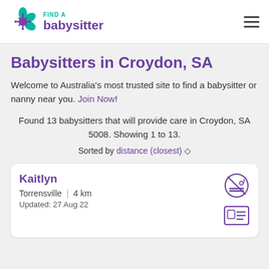[Figure (logo): Find A Babysitter logo with flower/snowflake icon in teal/purple and text 'FIND A babysitter']
Babysitters in Croydon, SA
Welcome to Australia's most trusted site to find a babysitter or nanny near you. Join Now!
Found 13 babysitters that will provide care in Croydon, SA 5008. Showing 1 to 13.
Sorted by distance (closest)
Kaitlyn
Torrensville | 4 km
Updated: 27 Aug 22